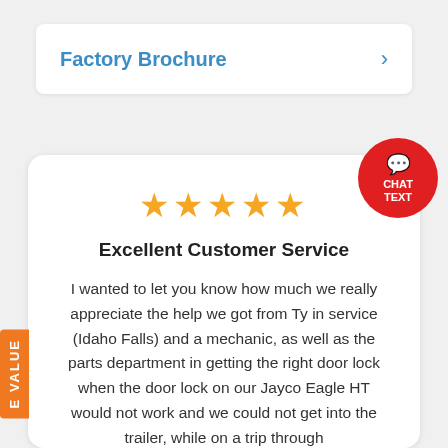Factory Brochure >
[Figure (infographic): Five gold star rating icons in a row]
Excellent Customer Service
I wanted to let you know how much we really appreciate the help we got from Ty in service (Idaho Falls) and a mechanic, as well as the parts department in getting the right door lock when the door lock on our Jayco Eagle HT would not work and we could not get into the trailer, while on a trip through
[Figure (infographic): Red circular chat button with chat icon, CHAT and TEXT labels]
E VALUE